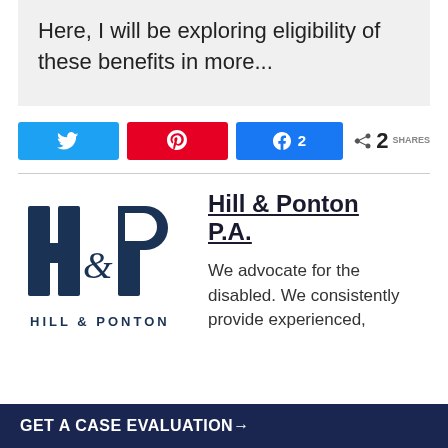Here, I will be exploring eligibility of these benefits in more...
[Figure (infographic): Social sharing buttons row: Twitter (blue), Pinterest (red), Facebook (blue with share count 2), and a share icon with count 2 and label SHARES]
[Figure (logo): Hill & Ponton P.A. law firm logo — HP monogram with 'HILL & PONTON' text below]
Hill & Ponton P.A.
We advocate for the disabled. We consistently provide experienced,
GET A CASE EVALUATION→